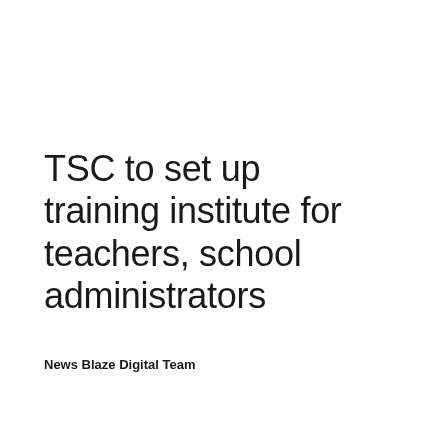TSC to set up training institute for teachers, school administrators
News Blaze Digital Team